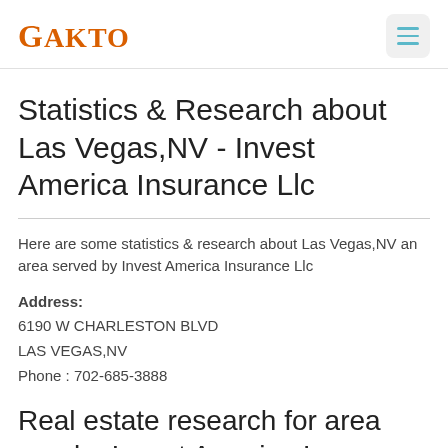GAKTO
Statistics & Research about Las Vegas,NV - Invest America Insurance Llc
Here are some statistics & research about Las Vegas,NV an area served by Invest America Insurance Llc
Address:
6190 W CHARLESTON BLVD
LAS VEGAS,NV
Phone : 702-685-3888
Real estate research for area nearby Invest America Insurance Llc